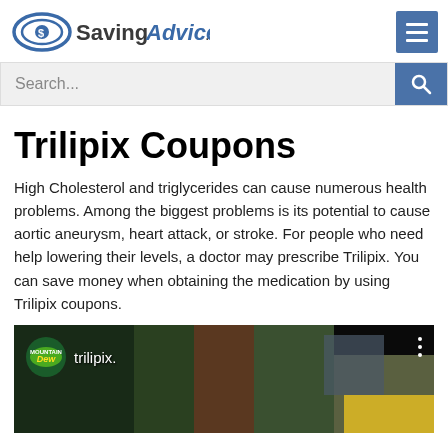SavingAdvice.com
Search...
Trilipix Coupons
High Cholesterol and triglycerides can cause numerous health problems. Among the biggest problems is its potential to cause aortic aneurysm, heart attack, or stroke. For people who need help lowering their levels, a doctor may prescribe Trilipix. You can save money when obtaining the medication by using Trilipix coupons.
[Figure (screenshot): Video thumbnail with Mountain Dew logo, 'trilipix.' text label, and outdoor scene background with trees and taxi visible]